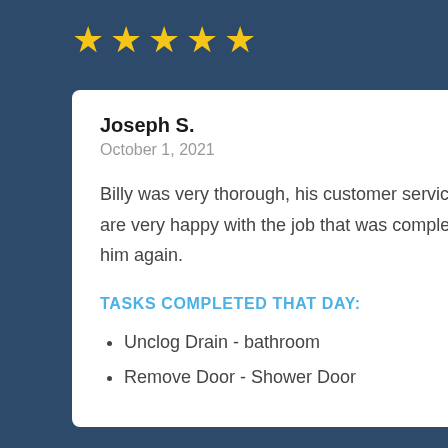[Figure (other): Five gold star rating icons]
Joseph S.
October 1, 2021
Billy was very thorough, his customer service was excellent. We are very happy with the job that was completed and we would hire him again.
TASKS COMPLETED THAT DAY:
Unclog Drain - bathroom
Remove Door - Shower Door